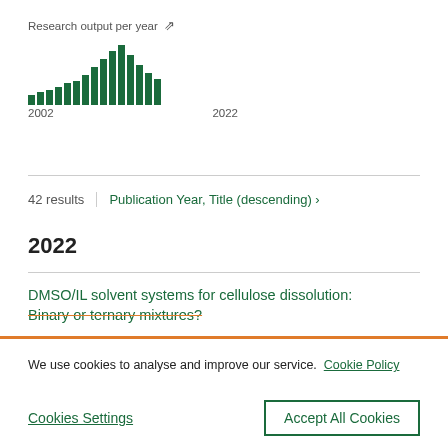[Figure (bar-chart): Research output per year]
42 results   Publication Year, Title (descending) ›
2022
DMSO/IL solvent systems for cellulose dissolution: Binary or ternary mixtures?
We use cookies to analyse and improve our service.  Cookie Policy
Cookies Settings    Accept All Cookies